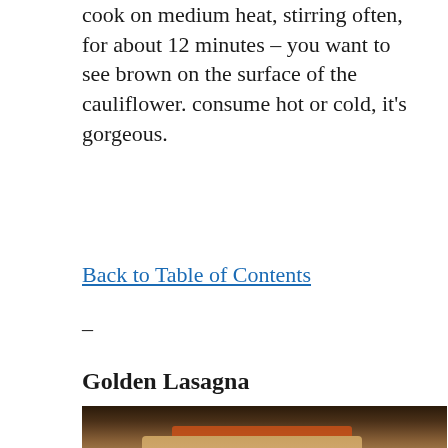cook on medium heat, stirring often, for about 12 minutes – you want to see brown on the surface of the cauliflower. consume hot or cold, it's gorgeous.
Back to Table of Contents
–
Golden Lasagna
[Figure (photo): Photo of two lasagna pans on a kitchen counter, one in the background and one large pan in the foreground showing a golden-brown cheesy top, with teal and orange cloths underneath the pans.]